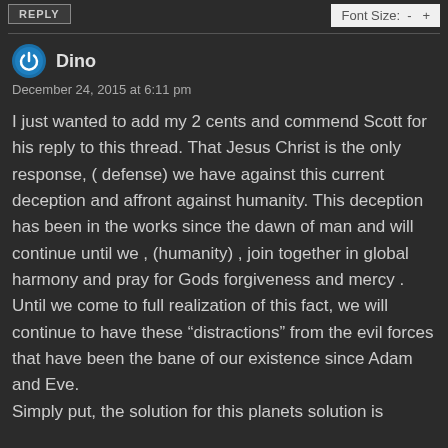REPLY | Font Size: - +
Dino
December 24, 2015 at 6:11 pm
I just wanted to add my 2 cents and commend Scott for his reply to this thread. That Jesus Christ is the only response, ( defense) we have against this current deception and affront against humanity. This deception has been in the works since the dawn of man and will continue until we , (humanity) , join together in global harmony and pray for Gods forgiveness and mercy .
Until we come to full realization of this fact, we will continue to have these “distractions” from the evil forces that have been the bane of our existence since Adam and Eve.
Simply put, the solution for this planets solution is